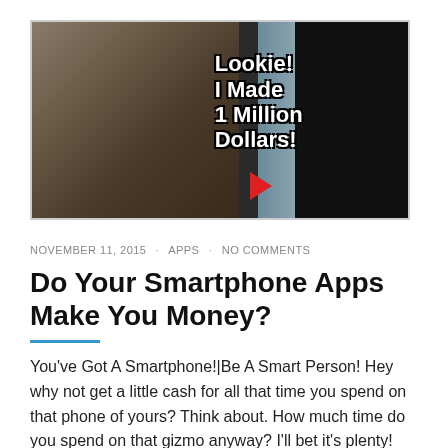[Figure (photo): Woman smiling looking at smartphone with overlay text 'Lookie! I Made 1 Million Dollars!' and a red arrow pointing at the phone screen.]
NOVEMBER 11, 2015 · APPS · NO COMMENTS
Do Your Smartphone Apps Make You Money?
You've Got A Smartphone!|Be A Smart Person! Hey why not get a little cash for all that time you spend on that phone of yours? Think about. How much time do you spend on that gizmo anyway? I'll bet it's plenty! What if